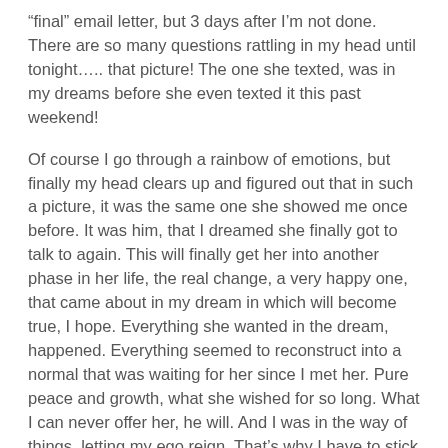“final” email letter, but 3 days after I’m not done. There are so many questions rattling in my head until tonight….. that picture! The one she texted, was in my dreams before she even texted it this past weekend!
Of course I go through a rainbow of emotions, but finally my head clears up and figured out that in such a picture, it was the same one she showed me once before. It was him, that I dreamed she finally got to talk to again. This will finally get her into another phase in her life, the real change, a very happy one, that came about in my dream in which will become true, I hope. Everything she wanted in the dream, happened. Everything seemed to reconstruct into a normal that was waiting for her since I met her. Pure peace and growth, what she wished for so long. What I can never offer her, he will. And I was in the way of things, letting my ego reign. That’s why I have to stick to my promise and never contact her again, or I will